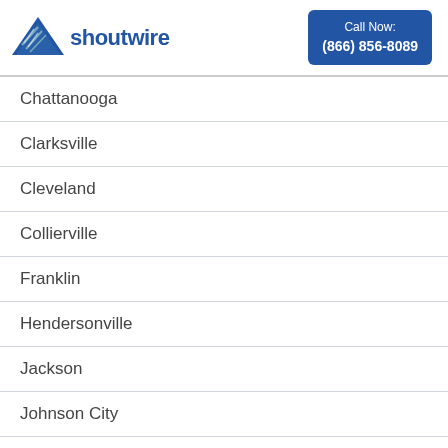[Figure (logo): Shoutwire logo with blue bird/wing icon and company name]
Call Now: (866) 856-8089
Chattanooga
Clarksville
Cleveland
Collierville
Franklin
Hendersonville
Jackson
Johnson City
Kingsport